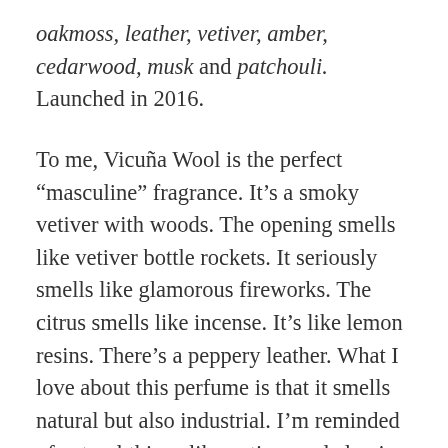oakmoss, leather, vetiver, amber, cedarwood, musk and patchouli. Launched in 2016.
To me, Vicuña Wool is the perfect “masculine” fragrance. It’s a smoky vetiver with woods. The opening smells like vetiver bottle rockets. It seriously smells like glamorous fireworks. The citrus smells like incense. It’s like lemon resins. There’s a peppery leather. What I love about this perfume is that it smells natural but also industrial. I’m reminded of natural things like vetiver and elemi, but I’m also reminded of fireworks and